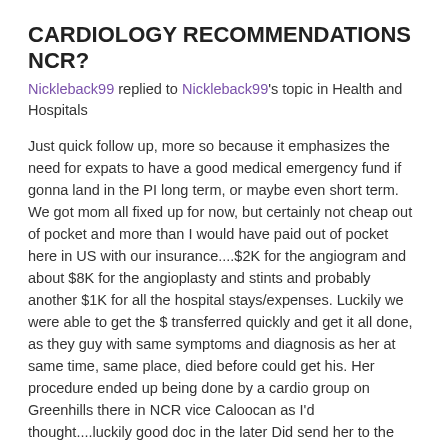CARDIOLOGY RECOMMENDATIONS NCR?
Nickleback99 replied to Nickleback99's topic in Health and Hospitals
Just quick follow up, more so because it emphasizes the need for expats to have a good medical emergency fund if gonna land in the PI long term, or maybe even short term. We got mom all fixed up for now, but certainly not cheap out of pocket and more than I would have paid out of pocket here in US with our insurance....$2K for the angiogram and about $8K for the angioplasty and stints and probably another $1K for all the hospital stays/expenses. Luckily we were able to get the $ transferred quickly and get it all done, as they guy with same symptoms and diagnosis as her at same time, same place, died before could get his. Her procedure ended up being done by a cardio group on Greenhills there in NCR vice Caloocan as I'd thought....luckily good doc in the later Did send her to the group in Greenhills. Now wife and son are back there as well visiting Lola for Xmas and New Yrs. Thanks to all for the suggestions/guidance earlier....looking forward to getting there next Summer.